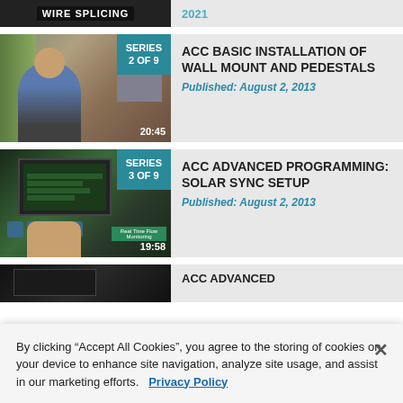[Figure (screenshot): Partial top card showing Wire Splicing video thumbnail and year 2021]
2021
[Figure (screenshot): Video thumbnail for ACC Basic Installation of Wall Mount and Pedestals, Series 2 of 9, duration 20:45]
ACC BASIC INSTALLATION OF WALL MOUNT AND PEDESTALS
Published: August 2, 2013
[Figure (screenshot): Video thumbnail for ACC Advanced Programming: Solar Sync Setup, Series 3 of 9, duration 19:58]
ACC ADVANCED PROGRAMMING: SOLAR SYNC SETUP
Published: August 2, 2013
[Figure (screenshot): Partial bottom card showing ACC Advanced video thumbnail]
ACC ADVANCED
By clicking “Accept All Cookies”, you agree to the storing of cookies on your device to enhance site navigation, analyze site usage, and assist in our marketing efforts.   Privacy Policy